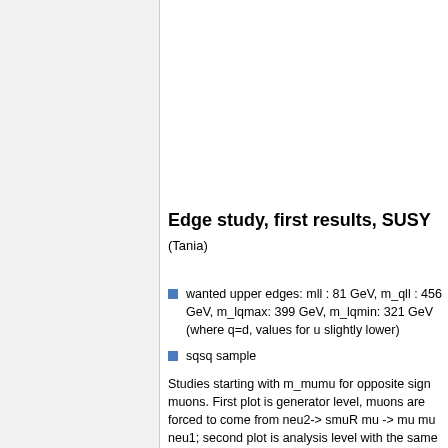Edge study, first results, SUSY
(Tania)
wanted upper edges: mll : 81 GeV, m_qll : 456 GeV, m_lqmax: 399 GeV, m_lqmin: 321 GeV (where q=d, values for u slightly lower)
sqsq sample
Studies starting with m_mumu for opposite sign muons. First plot is generator level, muons are forced to come from neu2-> smuR mu -> mu mu neu1; second plot is analysis level with the same preselected muons (ie neu2 required in